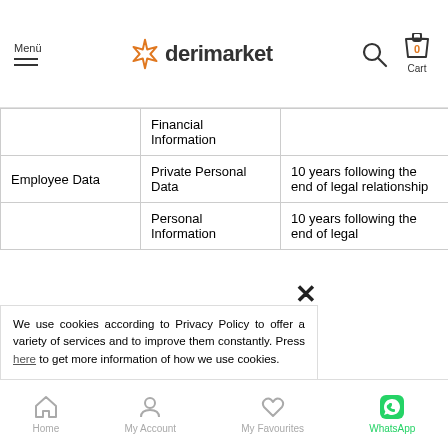Menü | derimarket | Cart 0
| Category | Data Type | Retention |
| --- | --- | --- |
|  | Financial Information |  |
| Employee Data | Private Personal Data | 10 years following the end of legal relationship |
|  | Personal Information |  |
|  |  | 10 years following the end of legal |
We use cookies according to Privacy Policy to offer a variety of services and to improve them constantly. Press here to get more information of how we use cookies.
Home | My Account | My Favourites | WhatsApp